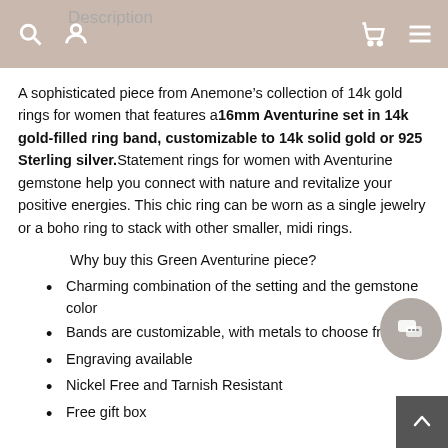Description
A sophisticated piece from Anemone’s collection of 14k gold rings for women that features a 16mm Aventurine set in 14k gold-filled ring band, customizable to 14k solid gold or 925 Sterling silver. Statement rings for women with Aventurine gemstone help you connect with nature and revitalize your positive energies. This chic ring can be worn as a single jewelry or a boho ring to stack with other smaller, midi rings.
Why buy this Green Aventurine piece?
Charming combination of the setting and the gemstone color
Bands are customizable, with metals to choose from
Engraving available
Nickel Free and Tarnish Resistant
Free gift box